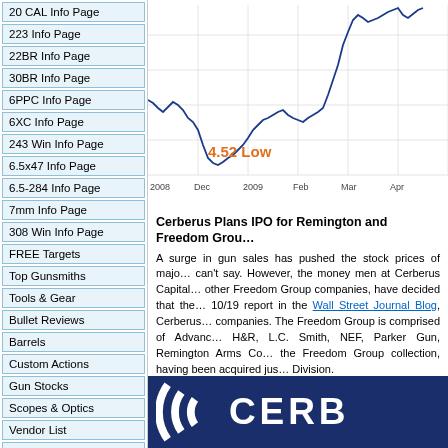20 CAL Info Page
223 Info Page
22BR Info Page
30BR Info Page
6PPC Info Page
6XC Info Page
243 Win Info Page
6.5x47 Info Page
6.5-284 Info Page
7mm Info Page
308 Win Info Page
FREE Targets
Top Gunsmiths
Tools & Gear
Bullet Reviews
Barrels
Custom Actions
Gun Stocks
Scopes & Optics
Vendor List
Reader POLLS
Event Calendar
[Figure (line-chart): Stock price line chart from 2008 to April, showing a low of 4.52 in late 2008 and rising trend through April.]
Cerberus Plans IPO for Remington and Freedom Grou...
A surge in gun sales has pushed the stock prices of major... can't say. However, the money men at Cerberus Capital... other Freedom Group companies, have decided that the... 10/19 report in the Wall Street Journal Blog, Cerberus... companies. The Freedom Group is comprised of Advance... H&R, L.C. Smith, NEF, Parker Gun, Remington Arms Co... the Freedom Group collection, having been acquired jus... Division.
[Figure (logo): Cerberus logo banner — dark blue background with white CERB... text and concentric arc logo]